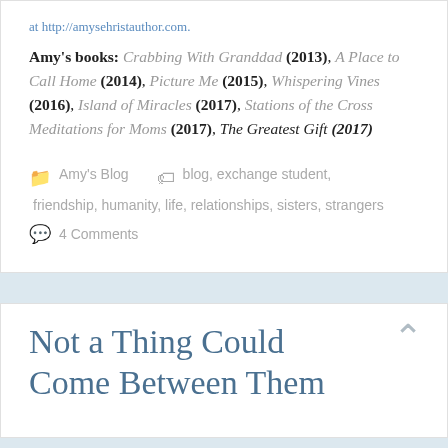at http://amysehristauthor.com.
Amy's books: Crabbing With Granddad (2013), A Place to Call Home (2014), Picture Me (2015), Whispering Vines (2016), Island of Miracles (2017), Stations of the Cross Meditations for Moms (2017), The Greatest Gift (2017)
Amy's Blog   blog, exchange student, friendship, humanity, life, relationships, sisters, strangers
4 Comments
Not a Thing Could Come Between Them